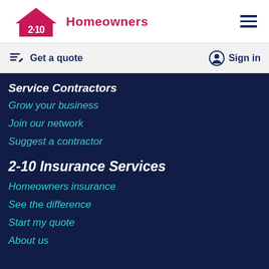[Figure (logo): 2-10 Homeowners logo with house icon in crimson/pink and text 'Homeowners']
Get a quote
Sign in
Service Contractors
Grow your business
Join our network
Suggest a contractor
2-10 Insurance Services
Homeowners insurance
See the difference
Start my quote
About us